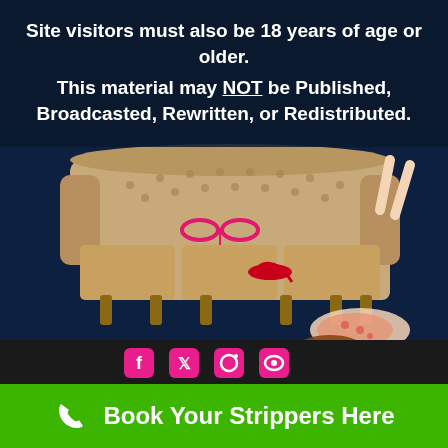Site visitors must also be 18 years of age or older. This material may NOT be Published, Broadcasted, Rewritten, or Redistributed.
[Figure (photo): A vintage tufted sofa with a pink bra hanging on it, red high heels on the cushion, and a woman in a floral outfit doing a back bend/handstand on the floor in front of the sofa, against a dark blue background.]
[Figure (infographic): Social media icons in pink: Facebook, Twitter, Instagram, and another icon on a dark bar.]
Book Your Strippers Here